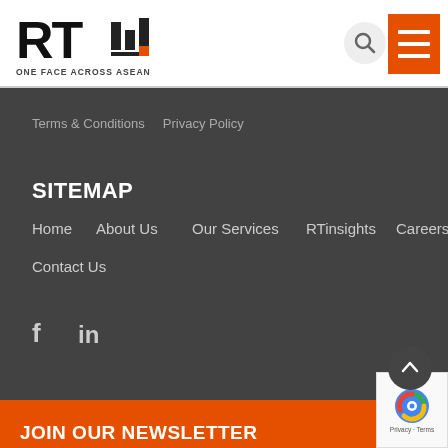[Figure (logo): RT logo with bar chart graphic and tagline ONE FACE ACROSS ASEAN]
Terms & Conditions    Privacy Policy
SITEMAP
Home
About Us
Our Services
RTinsights
Careers
Contact Us
[Figure (other): Social media icons: Facebook (f) and LinkedIn (in)]
JOIN OUR NEWSLETTER